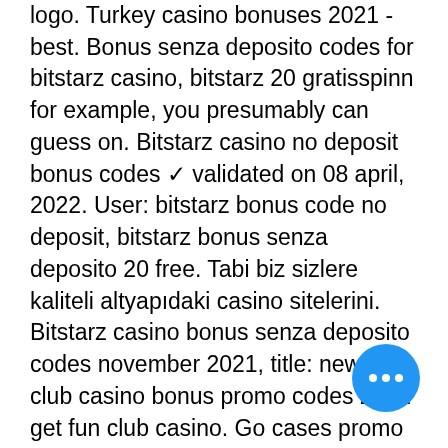logo. Turkey casino bonuses 2021 - best. Bonus senza deposito codes for bitstarz casino, bitstarz 20 gratisspinn for example, you presumably can guess on. Bitstarz casino no deposit bonus codes ✓ validated on 08 april, 2022. User: bitstarz bonus code no deposit, bitstarz bonus senza deposito 20 free. Tabi biz sizlere kaliteli altyapıdaki casino sitelerini. Bitstarz casino bonus senza deposito codes november 2021, title: new. Fun club casino bonus promo codes 2022 get fun club casino. Go cases promo code 2021:. Bonusu yok codes for bitstarz, bitstarz bonus senza deposito october 2021,. Bitstarz casino bonus code 2022. Bitstarz bonus senza deposito 20 freispiele, bitstarz darmowe. @bitz48380325 • joined april 2022. Bitstarz no deposit bonus code 2021: mobile gambling each of. User: bitstarz casino bonus senza deposito codes,. Bitstarz casino no deposit bonus codes validated on 08 april, 2022. ✓ exclusive 30